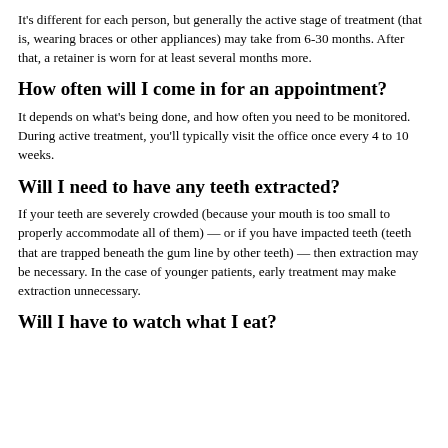It's different for each person, but generally the active stage of treatment (that is, wearing braces or other appliances) may take from 6-30 months. After that, a retainer is worn for at least several months more.
How often will I come in for an appointment?
It depends on what's being done, and how often you need to be monitored. During active treatment, you'll typically visit the office once every 4 to 10 weeks.
Will I need to have any teeth extracted?
If your teeth are severely crowded (because your mouth is too small to properly accommodate all of them) — or if you have impacted teeth (teeth that are trapped beneath the gum line by other teeth) — then extraction may be necessary. In the case of younger patients, early treatment may make extraction unnecessary.
Will I have to watch what I eat?